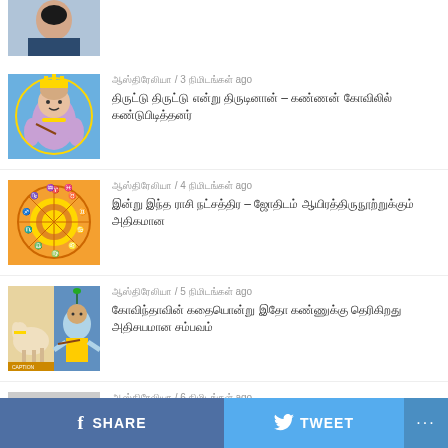[Figure (photo): Partial view of a man's face/upper body, top of feed]
ஆஸ்திரேலியா / 3 நிமிடங்கள் ago — Tamil article headline 1
[Figure (photo): Baby Krishna image]
ஆஸ்திரேலியா / 4 நிமிடங்கள் ago — Tamil article headline 2
[Figure (photo): Zodiac wheel / astrology chart image]
ஆஸ்திரேலியா / 5 நிமிடங்கள் ago — Tamil article headline 3
[Figure (photo): Two images side by side - cow and Krishna]
ஆஸ்திரேலியா / 6 நிமிடங்கள் ago — Tamil article headline 4
[Figure (photo): Partial image of a person's face]
f SHARE  🐦 TWEET  ...